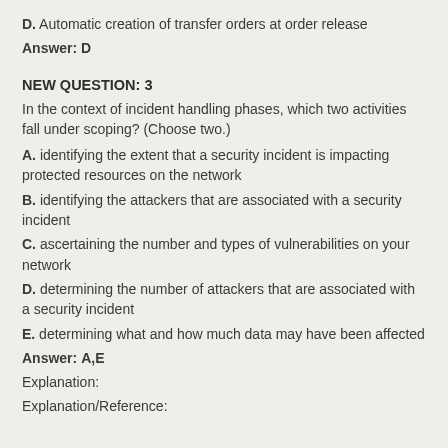D. Automatic creation of transfer orders at order release
Answer: D
NEW QUESTION: 3
In the context of incident handling phases, which two activities fall under scoping? (Choose two.)
A. identifying the extent that a security incident is impacting protected resources on the network
B. identifying the attackers that are associated with a security incident
C. ascertaining the number and types of vulnerabilities on your network
D. determining the number of attackers that are associated with a security incident
E. determining what and how much data may have been affected
Answer: A,E
Explanation:
Explanation/Reference: